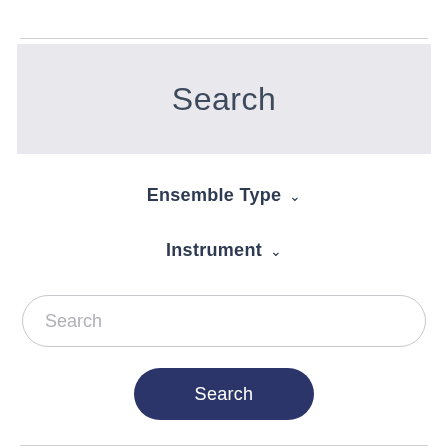Search
Ensemble Type
Instrument
Search (input placeholder)
Search (button)
Duo Or Ensemble+ Keyboard